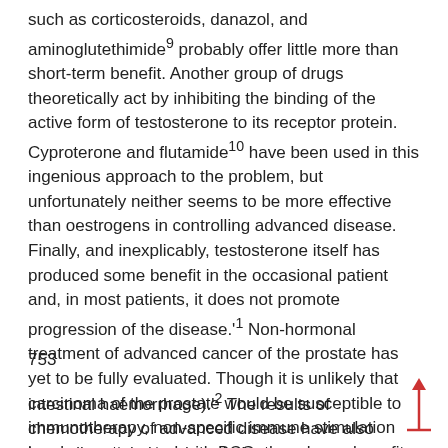such as corticosteroids, danazol, and aminoglutethimide9 probably offer little more than short-term benefit. Another group of drugs theoretically act by inhibiting the binding of the active form of testosterone to its receptor protein. Cyproterone and flutamide10 have been used in this ingenious approach to the problem, but unfortunately neither seems to be more effective than oestrogens in controlling advanced disease. Finally, and inexplicably, testosterone itself has produced some benefit in the occasional patient and, in most patients, it does not promote progression of the disease.'1 Non-hormonal treatment of advanced cancer of the prostate has yet to be fully evaluated. Though it is unlikely that carcinoma of the prostate would be susceptible to immunotherapy, non-specific immune stimulation has been attempted with BCG, though any benefit achieved was offset by severe side effects (generalised granulomatous disease and gastro-
753
intestinal haemorrhage).'2 The results of chemotherapy of advanced disease have also been disappointing, though the